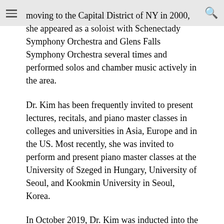moving to the Capital District of NY in 2000, she appeared as a soloist with Schenectady Symphony Orchestra and Glens Falls Symphony Orchestra several times and performed solos and chamber music actively in the area.
Dr. Kim has been frequently invited to present lectures, recitals, and piano master classes in colleges and universities in Asia, Europe and in the US. Most recently, she was invited to perform and present piano master classes at the University of Szeged in Hungary, University of Seoul, and Kookmin University in Seoul, Korea.
In October 2019, Dr. Kim was inducted into the Steinway & Sons Teacher Hall of Fame, a prestigious designation recognizing the work of most committed and passionate piano educators. This was the very first year the award was given and she was one of 43 teachers selected from the United States and Canada. Further highlighting her excellence as an educator, Dr. Kim was the recipient of the 2016 Thomas A. Manion Distinguished Faculty Award at the